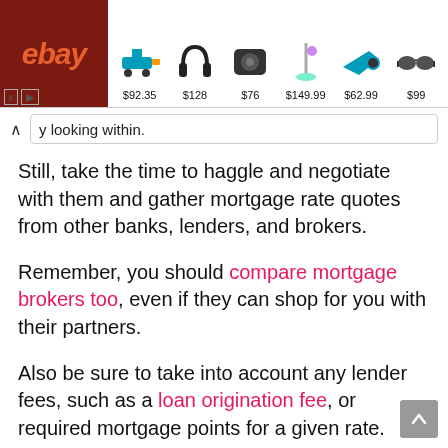[Figure (screenshot): eBay advertisement banner showing products with prices: $92.35 (drill kit), $128 (headphones), $76 (speaker), $149.99 (vacuum), $62.99 (saw), $99 (sunglasses)]
y looking within.
Still, take the time to haggle and negotiate with them and gather mortgage rate quotes from other banks, lenders, and brokers.
Remember, you should compare mortgage brokers too, even if they can shop for you with their partners.
Also be sure to take into account any lender fees, such as a loan origination fee, or required mortgage points for a given rate.